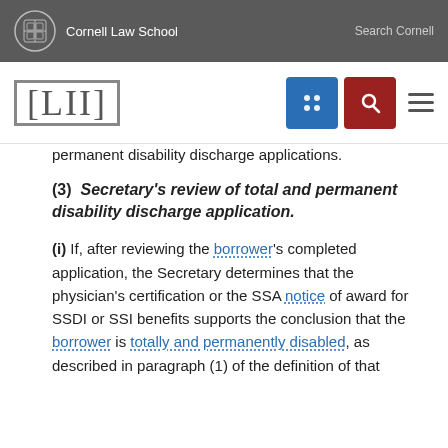Cornell Law School | Search Cornell
[Figure (logo): LII Legal Information Institute navigation bar with blue grid icon, red search icon, and hamburger menu]
permanent disability discharge applications.
(3) Secretary's review of total and permanent disability discharge application.
(i) If, after reviewing the borrower's completed application, the Secretary determines that the physician's certification or the SSA notice of award for SSDI or SSI benefits supports the conclusion that the borrower is totally and permanently disabled, as described in paragraph (1) of the definition of that